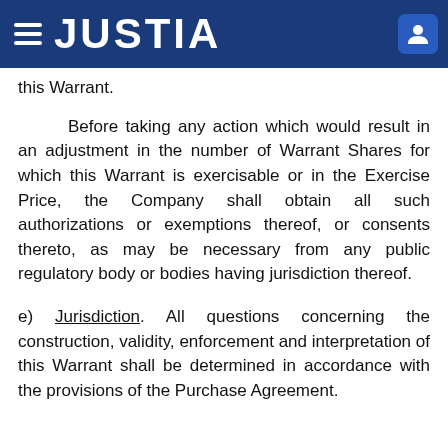JUSTIA
this Warrant.
Before taking any action which would result in an adjustment in the number of Warrant Shares for which this Warrant is exercisable or in the Exercise Price, the Company shall obtain all such authorizations or exemptions thereof, or consents thereto, as may be necessary from any public regulatory body or bodies having jurisdiction thereof.
e) Jurisdiction. All questions concerning the construction, validity, enforcement and interpretation of this Warrant shall be determined in accordance with the provisions of the Purchase Agreement.